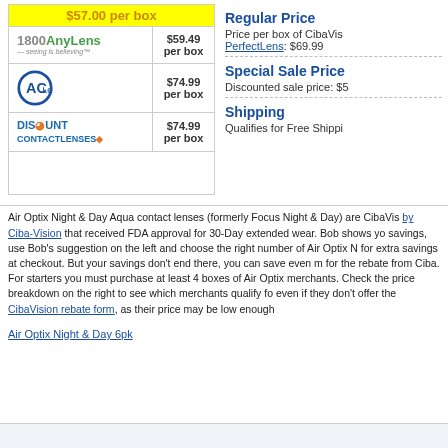| Retailer | Price |
| --- | --- |
| $57.00 per box (banner) |  |
| 1800AnyLens | $59.49 per box |
| ACLens | $74.99 per box |
| Discount Contact Lenses | $74.99 per box |
Regular Price
Price per box of CibaVision PerfectLens: $69.99
Special Sale Price
Discounted sale price: $5...
Shipping
Qualifies for Free Shippi...
Air Optix Night & Day Aqua contact lenses (formerly Focus Night & Day) are CibaVision... by Ciba-Vision that received FDA approval for 30-Day extended wear. Bob shows yo... savings, use Bob's suggestion on the left and choose the right number of Air Optix N... for extra savings at checkout. But your savings don't end there, you can save even m... for the rebate from Ciba. For starters you must purchase at least 4 boxes of Air Optix... merchants. Check the price breakdown on the right to see which merchants qualify fo... even if they don't offer the CibaVision rebate form, as their price may be low enough...
Air Optix Night & Day 6pk